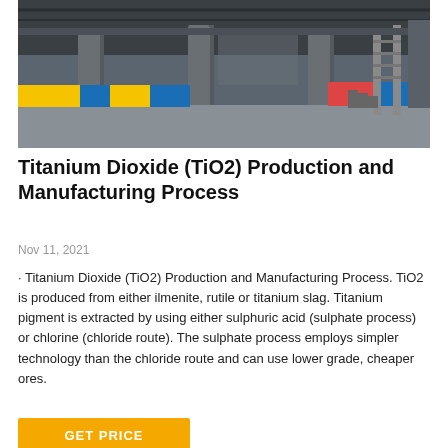[Figure (photo): Industrial facility interior showing concrete columns, scaffolding, yellow and blue painted barriers, metal walkways and structures in a large manufacturing plant.]
Titanium Dioxide (TiO2) Production and Manufacturing Process
Nov 11, 2021
· Titanium Dioxide (TiO2) Production and Manufacturing Process. TiO2 is produced from either ilmenite, rutile or titanium slag. Titanium pigment is extracted by using either sulphuric acid (sulphate process) or chlorine (chloride route). The sulphate process employs simpler technology than the chloride route and can use lower grade, cheaper ores.
GET PRICE